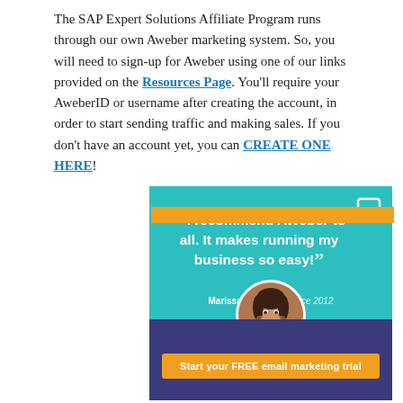The SAP Expert Solutions Affiliate Program runs through our own Aweber marketing system. So, you will need to sign-up for Aweber using one of our links provided on the Resources Page. You'll require your AweberID or username after creating the account, in order to start sending traffic and making sales. If you don't have an account yet, you can CREATE ONE HERE!
[Figure (illustration): AWeber testimonial ad. Teal background with quote: “I recommend AWeber to all. It makes running my business so easy!” attributed to Marissa, Customer Since 2012. Photo of woman in circular frame. Navy blue lower section with orange CTA button: Start your FREE email marketing trial.]